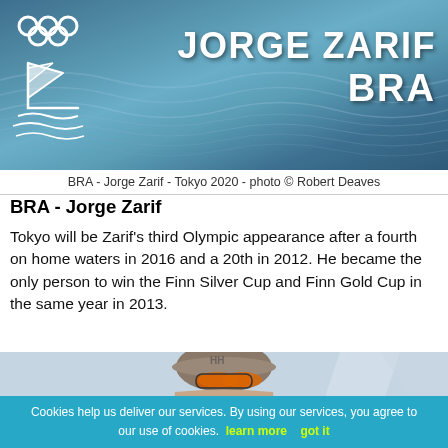[Figure (photo): Header banner with Olympic sailing logo on the left and bold white text 'JORGE ZARIF' and 'BRA' on the right against a blue ocean/water background]
BRA - Jorge Zarif - Tokyo 2020 - photo © Robert Deaves
BRA - Jorge Zarif
Tokyo will be Zarif's third Olympic appearance after a fourth on home waters in 2016 and a 20th in 2012. He became the only person to win the Finn Silver Cup and Finn Gold Cup in the same year in 2013.
[Figure (photo): Close-up photo of Jorge Zarif wearing a Helly Hansen (HH) camouflage cap and orange reflective sunglasses, smiling, with sailing equipment in background]
Cookies help us deliver our services. By using our services, you agree to our use of cookies.  learn more    got it